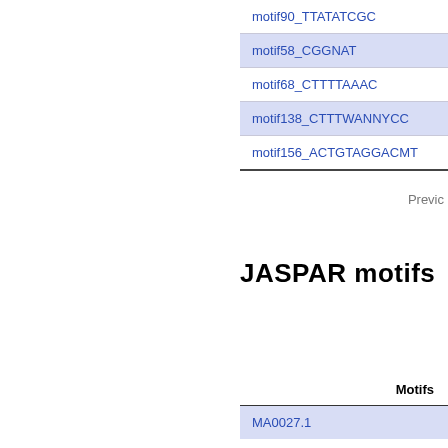| motif90_TTATATCGC |
| motif58_CGGNAT |
| motif68_CTTTTAAAC |
| motif138_CTTTWANNYCC |
| motif156_ACTGTAGGACMT |
Previc
JASPAR motifs
| Motifs |
| --- |
| MA0027.1 |